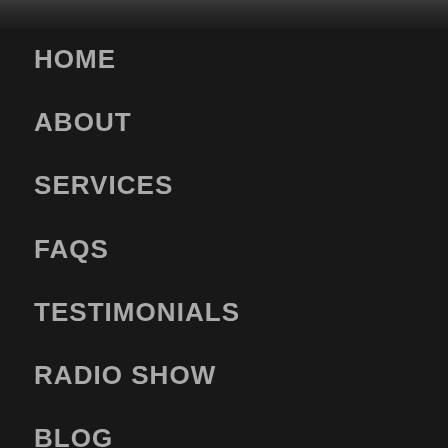HOME
ABOUT
SERVICES
FAQS
TESTIMONIALS
RADIO SHOW
BLOG